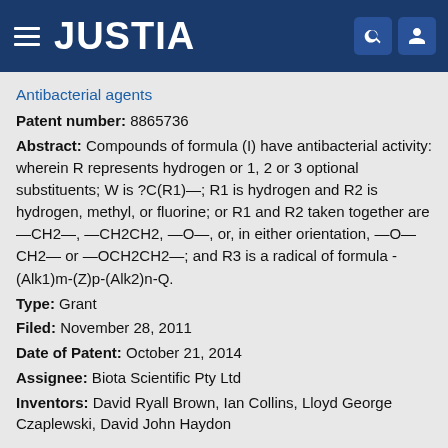JUSTIA
Antibacterial agents
Patent number: 8865736
Abstract: Compounds of formula (I) have antibacterial activity: wherein R represents hydrogen or 1, 2 or 3 optional substituents; W is ?C(R1)—; R1 is hydrogen and R2 is hydrogen, methyl, or fluorine; or R1 and R2 taken together are —CH2—, —CH2CH2, —O—, or, in either orientation, —O—CH2— or —OCH2CH2—; and R3 is a radical of formula -(Alk1)m-(Z)p-(Alk2)n-Q.
Type: Grant
Filed: November 28, 2011
Date of Patent: October 21, 2014
Assignee: Biota Scientific Pty Ltd
Inventors: David Ryall Brown, Ian Collins, Lloyd George Czaplewski, David John Haydon